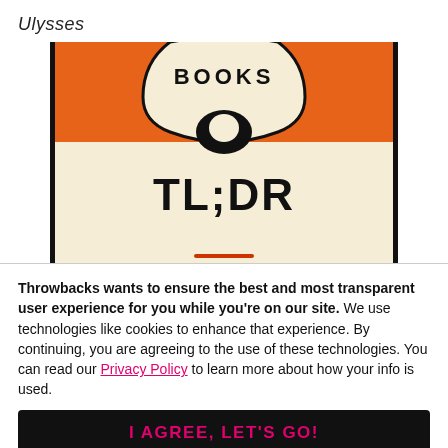Ulysses
[Figure (illustration): Book cover showing an orange top band with 'BOOKS' text and a penguin logo arc, and a cream/beige lower section with bold text 'TL;DR'. A small orange/red horizontal line appears near the bottom of the visible cover crop.]
Throwbacks wants to ensure the best and most transparent user experience for you while you're on our site. We use technologies like cookies to enhance that experience. By continuing, you are agreeing to the use of these technologies. You can read our Privacy Policy to learn more about how your info is used.
I AGREE, LET'S GO!